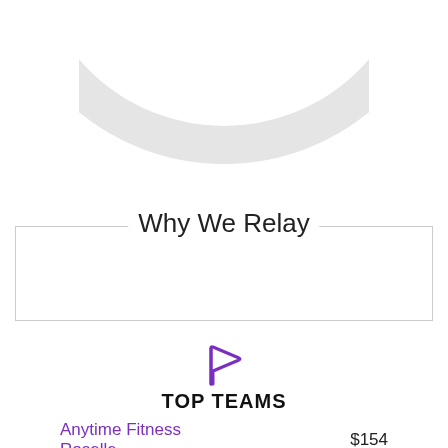[Figure (donut-chart): Partial donut/ring chart visible at top of page, showing the bottom arc of a large ring in light gray. Only the bottom portion is visible.]
Why We Relay
[Figure (illustration): Purple flag icon]
TOP TEAMS
Anytime Fitness Roselle   $154
Roselle